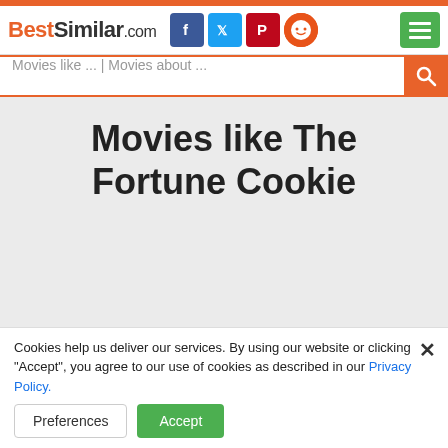BestSimilar.com
Movies like The Fortune Cookie
Cookies help us deliver our services. By using our website or clicking "Accept", you agree to our use of cookies as described in our Privacy Policy.